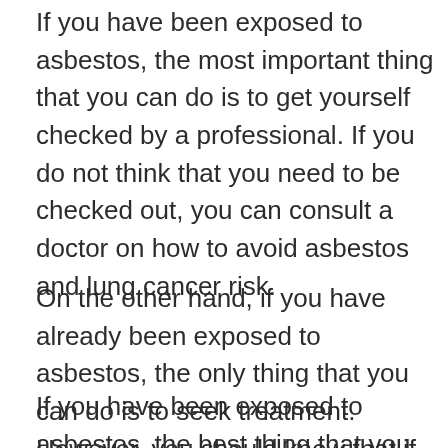If you have been exposed to asbestos, the most important thing that you can do is to get yourself checked by a professional. If you do not think that you need to be checked out, you can consult a doctor on how to avoid asbestos and lung cancer risk.
On the other hand, if you have already been exposed to asbestos, the only thing that you can do is to seek treatment. However, you should know that if you take precautionary measures, you can minimize the risk of having this disease.
If you have been exposed to asbestos, the best thing that you can do is to get yourself